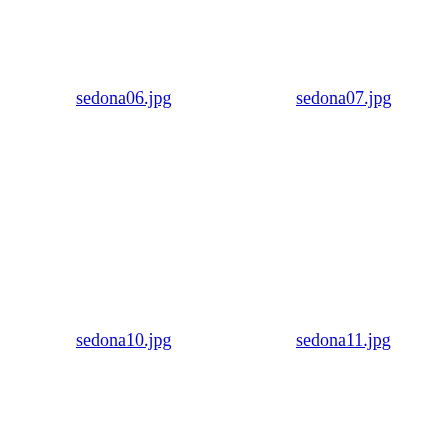sedona06.jpg
sedona07.jpg
sedona10.jpg
sedona11.jpg